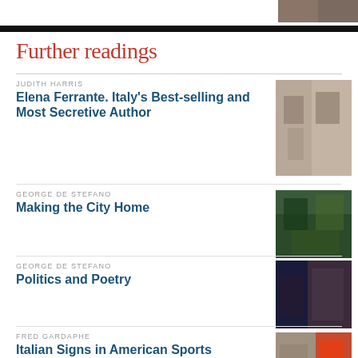Further readings
JUDITH HARRIS
Elena Ferrante. Italy's Best-selling and Most Secretive Author
GEORGE DE STEFANO
Making the City Home
GEORGE DE STEFANO
Politics and Poetry
FRED GARDAPHE
Italian Signs in American Sports
GEORGE DE STEFANO
Race, Racism, and Italianità